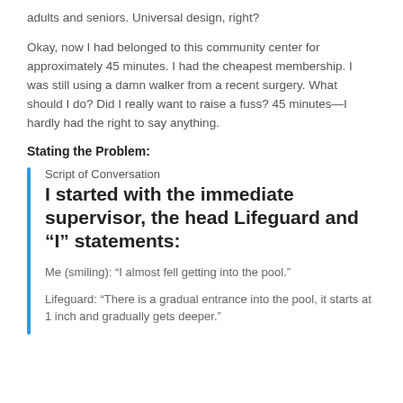adults and seniors. Universal design, right?
Okay, now I had belonged to this community center for approximately 45 minutes. I had the cheapest membership. I was still using a damn walker from a recent surgery. What should I do? Did I really want to raise a fuss? 45 minutes—I hardly had the right to say anything.
Stating the Problem:
Script of Conversation
I started with the immediate supervisor, the head Lifeguard and “I” statements:
Me (smiling): “I almost fell getting into the pool.”
Lifeguard: “There is a gradual entrance into the pool, it starts at 1 inch and gradually gets deeper.”